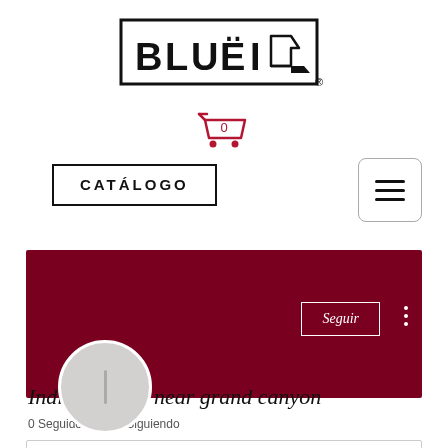[Figure (logo): BLUEIN logo with shoe heel icon inside a rectangular border, followed by a registered trademark symbol]
[Figure (other): Shopping cart icon in red/crimson with a 0 badge on top]
CATÁLOGO
[Figure (other): Hamburger menu button (three horizontal lines) inside a rounded rectangle border]
[Figure (other): Dark red/crimson profile banner rectangle with a circular gray avatar placeholder, a Seguir (Follow) button in white outline, and a three-dot more menu]
Indian casino near grand canyon
0 Seguidores • 0 Siguiendo